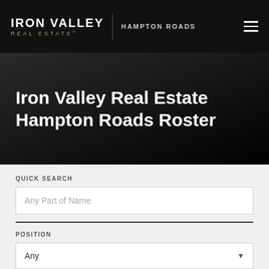IRON VALLEY REAL ESTATE | HAMPTON ROADS
Iron Valley Real Estate Hampton Roads Roster
QUICK SEARCH
Any Part of Name
POSITION
Any